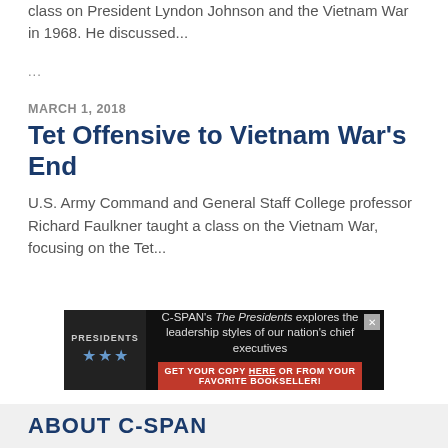class on President Lyndon Johnson and the Vietnam War in 1968. He discussed…
…
MARCH 1, 2018
Tet Offensive to Vietnam War's End
U.S. Army Command and General Staff College professor Richard Faulkner taught a class on the Vietnam War, focusing on the Tet…
[Figure (infographic): C-SPAN advertisement featuring The Presidents book with stars on cover. Text reads: C-SPAN's The Presidents explores the leadership styles of our nation's chief executives. GET YOUR COPY HERE OR FROM YOUR FAVORITE BOOKSELLER!]
Advertisement
ABOUT C-SPAN